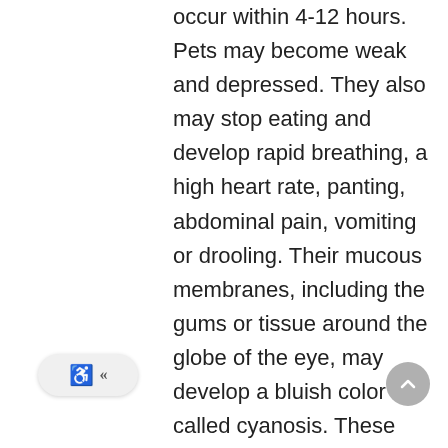occur within 4-12 hours. Pets may become weak and depressed. They also may stop eating and develop rapid breathing, a high heart rate, panting, abdominal pain, vomiting or drooling. Their mucous membranes, including the gums or tissue around the globe of the eye, may develop a bluish color called cyanosis. These areas may also develop a chocolate brown color from methemoglobin accumulation. Some pets develop swelling in the face, paws, and forelimbs